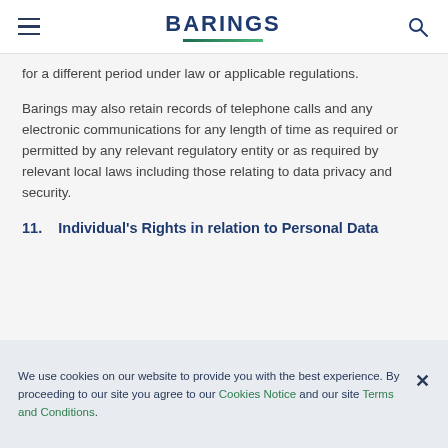BARINGS
for a different period under law or applicable regulations.
Barings may also retain records of telephone calls and any electronic communications for any length of time as required or permitted by any relevant regulatory entity or as required by relevant local laws including those relating to data privacy and security.
11.   Individual's Rights in relation to Personal Data
We use cookies on our website to provide you with the best experience. By proceeding to our site you agree to our Cookies Notice and our site Terms and Conditions.